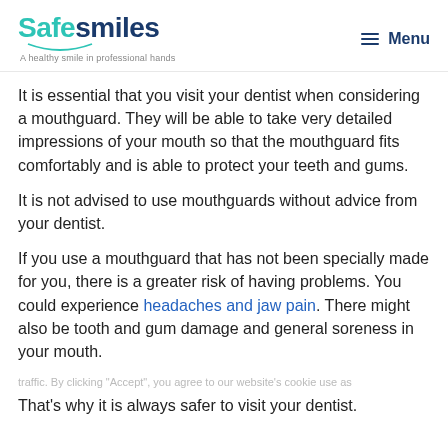Safesmiles — A healthy smile in professional hands | Menu
It is essential that you visit your dentist when considering a mouthguard. They will be able to take very detailed impressions of your mouth so that the mouthguard fits comfortably and is able to protect your teeth and gums.
It is not advised to use mouthguards without advice from your dentist.
If you use a mouthguard that has not been specially made for you, there is a greater risk of having problems. You could experience headaches and jaw pain. There might also be tooth and gum damage and general soreness in your mouth.
traffic. By clicking "Accept", you agree to our website's cookie use as
That's why it is always safer to visit your dentist.